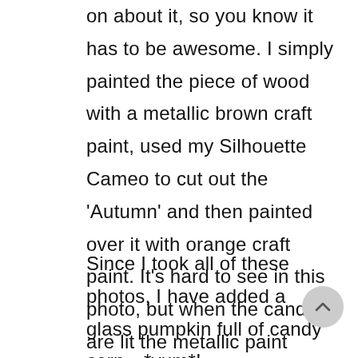on about it, so you know it has to be awesome. I simply painted the piece of wood with a metallic brown craft paint, used my Silhouette Cameo to cut out the 'Autumn' and then painted over it with orange craft paint. It's hard to see in this photo, but when the candles are lit the metallic paint really comes to life. It's beautiful.
Since I took all of these photos, I have added a glass pumpkin full of candy corn…*yum*!